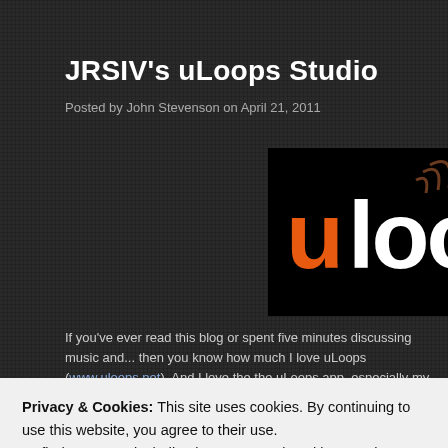JRSIV's uLoops Studio
Posted by John Stevenson on April 21, 2011
[Figure (logo): uLoops logo: black background with orange 'u' and white 'loops' text with brown sound wave arcs above]
If you've ever read this blog or spent five minutes discussing music and... then you know how much I love uLoops (www.uloops.net). And I love the the uLoops app, especially my beloved Fender MyTouch 3G. In a previous... Fender MT3G was totally ruined by the Android 2.2 "Froyo" update sent "c...
Privacy & Cookies: This site uses cookies. By continuing to use this website, you agree to their use.
To find out more, including how to control cookies, see here: Cookie Policy
Close and accept